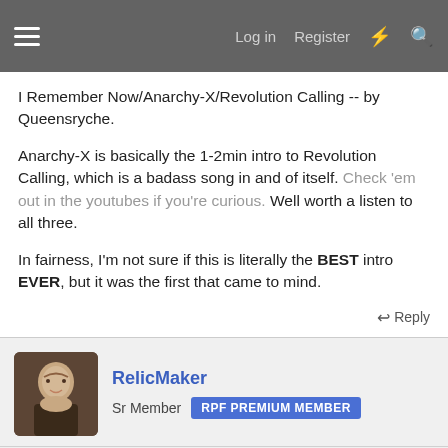Log in  Register
I Remember Now/Anarchy-X/Revolution Calling -- by Queensryche.
Anarchy-X is basically the 1-2min intro to Revolution Calling, which is a badass song in and of itself. Check 'em out in the youtubes if you're curious. Well worth a listen to all three.
In fairness, I'm not sure if this is literally the BEST intro EVER, but it was the first that came to mind.
Reply
RelicMaker
Sr Member  RPF PREMIUM MEMBER
Nov 4, 2011  #8
A couple off the top of my head that stand out IMO: